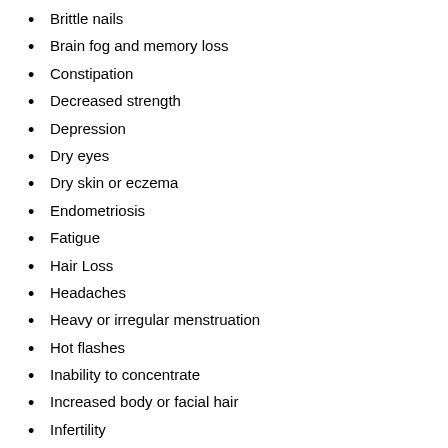Brittle nails
Brain fog and memory loss
Constipation
Decreased strength
Depression
Dry eyes
Dry skin or eczema
Endometriosis
Fatigue
Hair Loss
Headaches
Heavy or irregular menstruation
Hot flashes
Inability to concentrate
Increased body or facial hair
Infertility
Irritability or mood swings
Loss of bone mass
Loss of muscle mass or inability to build muscle
Low energy